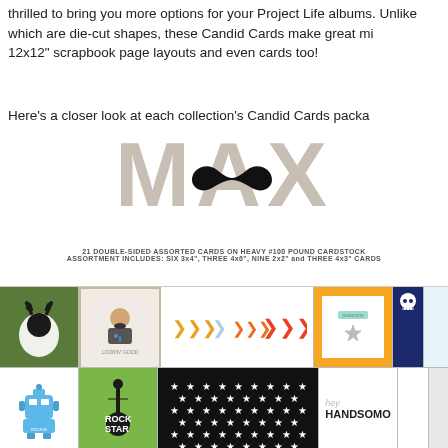thrilled to bring you more options for your Project Life albums. Unlike which are die-cut shapes, these Candid Cards make great mi 12x12" scrapbook page layouts and even cards too!
Here's a closer look at each collection's Candid Cards package
[Figure (illustration): MAX logo in large gray letters with a black mustache graphic overlaid, followed by card assortment details text and a grid of product card images including robot, guitar, camo, mustache man, arrows, stars, hey handsome, playlist, skull, fox, young wild free, and other design cards]
21 DOUBLE-SIDED ASSORTED CARDS ON HEAVY #100 POUND CARDSTOCK
ASSORTMENT INCLUDES: SIX 3x4", THREE 4x6", NINE 2x2" and THREE 4x3" CARDS